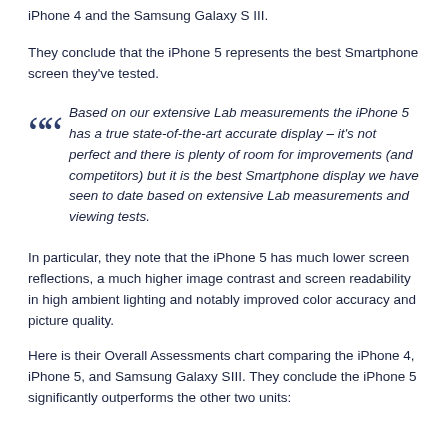iPhone 4 and the Samsung Galaxy S III.
They conclude that the iPhone 5 represents the best Smartphone screen they've tested.
Based on our extensive Lab measurements the iPhone 5 has a true state-of-the-art accurate display – it's not perfect and there is plenty of room for improvements (and competitors) but it is the best Smartphone display we have seen to date based on extensive Lab measurements and viewing tests.
In particular, they note that the iPhone 5 has much lower screen reflections, a much higher image contrast and screen readability in high ambient lighting and notably improved color accuracy and picture quality.
Here is their Overall Assessments chart comparing the iPhone 4, iPhone 5, and Samsung Galaxy SIII. They conclude the iPhone 5 significantly outperforms the other two units: